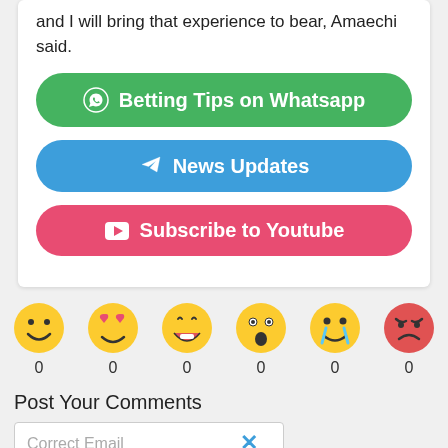and I will bring that experience to bear, Amaechi said.
[Figure (infographic): Three call-to-action buttons: green WhatsApp button 'Betting Tips on Whatsapp', blue Telegram button 'News Updates', pink/red YouTube button 'Subscribe to Youtube']
[Figure (infographic): Six emoji reaction icons (smiley, heart-eyes, laughing, shocked, crying, angry) each with a count of 0 below]
Post Your Comments
Correct Email